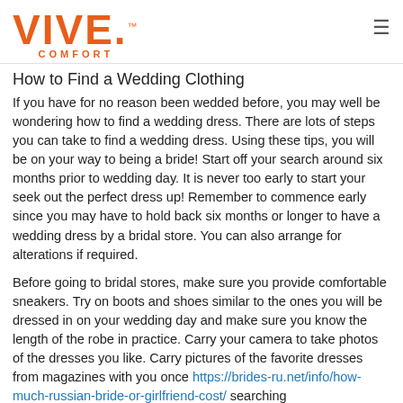[Figure (logo): VIVE COMFORT logo in orange with hamburger menu icon]
How to Find a Wedding Clothing
If you have for no reason been wedded before, you may well be wondering how to find a wedding dress. There are lots of steps you can take to find a wedding dress. Using these tips, you will be on your way to being a bride! Start off your search around six months prior to wedding day. It is never too early to start your seek out the perfect dress up! Remember to commence early since you may have to hold back six months or longer to have a wedding dress by a bridal store. You can also arrange for alterations if required.
Before going to bridal stores, make sure you provide comfortable sneakers. Try on boots and shoes similar to the ones you will be dressed in on your wedding day and make sure you know the length of the robe in practice. Carry your camera to take photos of the dresses you like. Carry pictures of the favorite dresses from magazines with you once https://brides-ru.net/info/how-much-russian-bride-or-girlfriend-cost/ searching